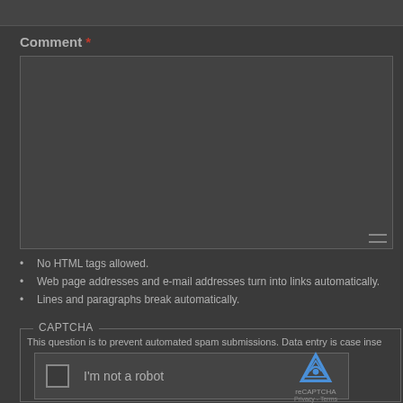Comment *
[Figure (screenshot): Empty comment textarea input box with resize handle]
No HTML tags allowed.
Web page addresses and e-mail addresses turn into links automatically.
Lines and paragraphs break automatically.
CAPTCHA
This question is to prevent automated spam submissions. Data entry is case inse
[Figure (screenshot): reCAPTCHA widget with checkbox and I'm not a robot label]